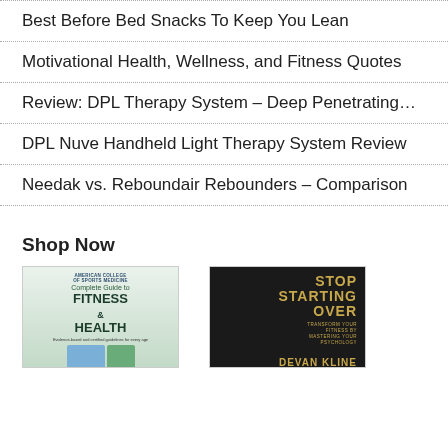Best Before Bed Snacks To Keep You Lean
Motivational Health, Wellness, and Fitness Quotes
Review: DPL Therapy System – Deep Penetrating…
DPL Nuve Handheld Light Therapy System Review
Needak vs. Reboundair Rebounders – Comparison
Shop Now
[Figure (photo): Book cover: Complete Guide to Fitness & Health by Barbara Bushman PhD]
[Figure (photo): Book cover: Stop Starting Over – Transform Your Fitness By Mastering Your Psychology by Devan Kline]